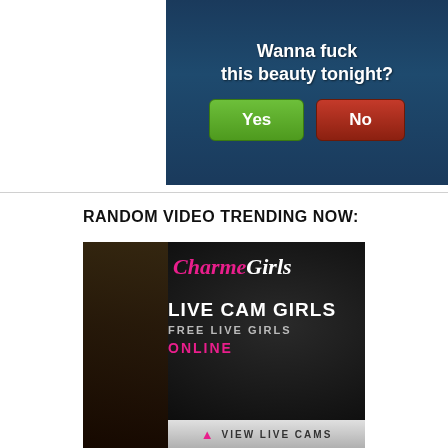[Figure (screenshot): Dark blue advertisement banner with text 'Wanna fuck this beauty tonight?' and two buttons: green 'Yes' and red 'No']
RANDOM VIDEO TRENDING NOW:
[Figure (screenshot): CharmeGirls advertisement banner showing blonde woman, pink cursive logo 'CharmeGirls', text 'LIVE CAM GIRLS', 'FREE LIVE GIRLS', 'ONLINE' in pink, and 'VIEW LIVE CAMS' button at bottom]